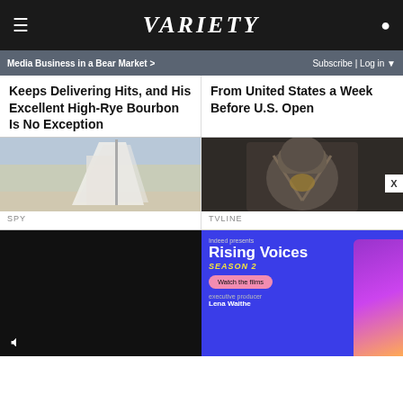VARIETY
Media Business in a Bear Market > | Subscribe | Log in
Keeps Delivering Hits, and His Excellent High-Rye Bourbon Is No Exception
From United States a Week Before U.S. Open
[Figure (photo): Person on a sailboat wearing white clothing]
SPY
[Figure (photo): Person wearing armor costume, possibly from a TV show]
TVLINE
[Figure (photo): Black video player area with mute icon]
[Figure (advertisement): Indeed presents Rising Voices Season 2 ad with Lena Waithe as executive producer]